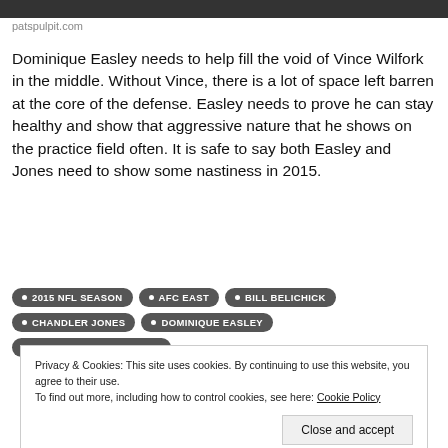[Figure (photo): Top banner image, dark/cropped photo]
patspulpit.com
Dominique Easley needs to help fill the void of Vince Wilfork in the middle. Without Vince, there is a lot of space left barren at the core of the defense. Easley needs to prove he can stay healthy and show that aggressive nature that he shows on the practice field often. It is safe to say both Easley and Jones need to show some nastiness in 2015.
• 2015 NFL SEASON
• AFC EAST
• BILL BELICHICK
• CHANDLER JONES
• DOMINIQUE EASLEY
• NEW ENGLAND PATRIOTS
Privacy & Cookies: This site uses cookies. By continuing to use this website, you agree to their use.
To find out more, including how to control cookies, see here: Cookie Policy
Close and accept